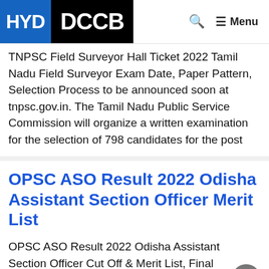HYD DCCB
TNPSC Field Surveyor Hall Ticket 2022 Tamil Nadu Field Surveyor Exam Date, Paper Pattern, Selection Process to be announced soon at tnpsc.gov.in. The Tamil Nadu Public Service Commission will organize a written examination for the selection of 798 candidates for the post
OPSC ASO Result 2022 Odisha Assistant Section Officer Merit List
OPSC ASO Result 2022 Odisha Assistant Section Officer Cut Off & Merit List, Final Selection List to be